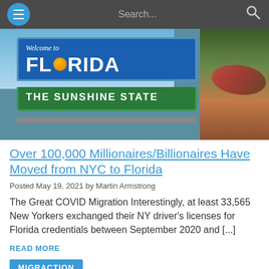Navigation bar with hamburger menu, Search input, and search icon
[Figure (photo): Welcome to Florida – The Sunshine State road sign in front of palm trees]
Over 100,000 Millionaires/Billionaires Have Moved from NYC to Florida
Posted May 19, 2021 by Martin Armstrong
The Great COVID Migration Interestingly, at least 33,565 New Yorkers exchanged their NY driver's licenses for Florida credentials between September 2020 and [...]
READ MORE
MIGRACTION